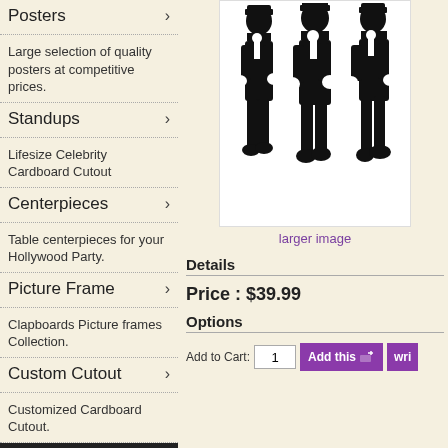Posters →
Large selection of quality posters at competitive prices.
Standups →
Lifesize Celebrity Cardboard Cutout
Centerpieces →
Table centerpieces for your Hollywood Party.
Picture Frame →
Clapboards Picture frames Collection.
Custom Cutout →
Customized Cardboard Cutout.
Most Requested
Party Supplies
[Figure (illustration): Black and white illustration of three men in tuxedos / formal wear, walking in a line, resembling the Three Stooges style silhouette]
larger image
Details
Price : $39.99
Options
Add to Cart: 1  [Add this button] [wri button]